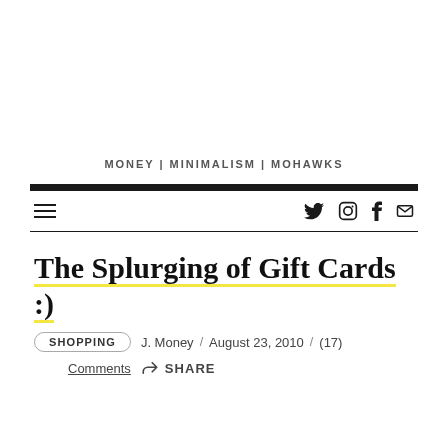MONEY | MINIMALISM | MOHAWKS
The Splurging of Gift Cards :)
SHOPPING   J. Money  /  August 23, 2010  /  (17) Comments   SHARE